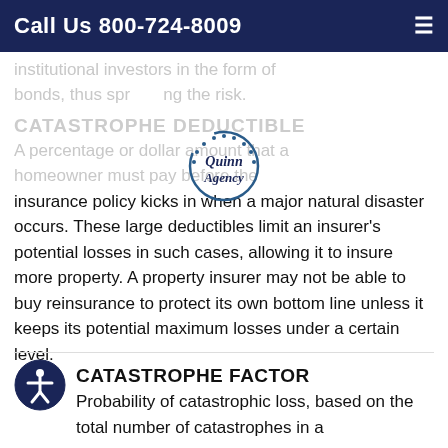Call Us 800-724-8009
institutional investors in the form of bonds, thus spreading the risk.
[Figure (logo): Quinn Agency circular logo with wheat/laurel design]
CATASTROPHE DEDUCTIBLE
A percentage or dollar amount that a homeowner must pay before the insurance policy kicks in when a major natural disaster occurs. These large deductibles limit an insurer's potential losses in such cases, allowing it to insure more property. A property insurer may not be able to buy reinsurance to protect its own bottom line unless it keeps its potential maximum losses under a certain level.
CATASTROPHE FACTOR
Probability of catastrophic loss, based on the total number of catastrophes in a